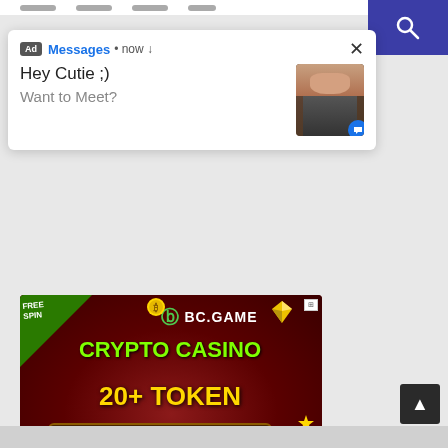[Figure (screenshot): Mobile browser screenshot showing two ads: a popup ad notification and a BC.GAME crypto casino banner ad]
Ad  Messages • now
Hey Cutie ;)
Want to Meet?
[Figure (photo): Thumbnail image of a person in the ad popup]
[Figure (infographic): BC.GAME crypto casino banner ad with FREE SPIN, BC.GAME logo, CRYPTO CASINO, 20+ TOKEN, WIN 5 BTC, PLAY NOW button, spin wheel and dinosaur character]
FREE SPIN
BC.GAME
CRYPTO CASINO
20+ TOKEN
WIN 5 BTC
PLAY NOW